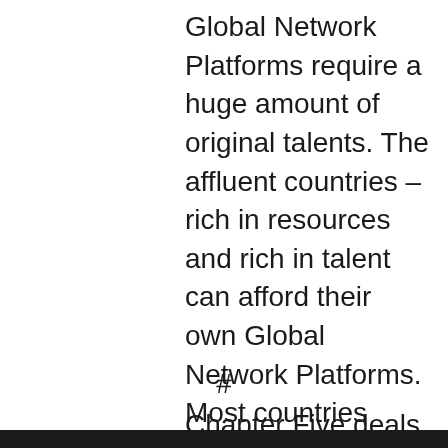Global Network Platforms require a huge amount of original talents. The affluent countries – rich in resources and rich in talent can afford their own Global Network Platforms.  Most countries can't afford it.  At the same time “public figures” are able to use the global platforms to their advantage, their enhanced visibility and economic exploitation.
#
Chapter Five deals with